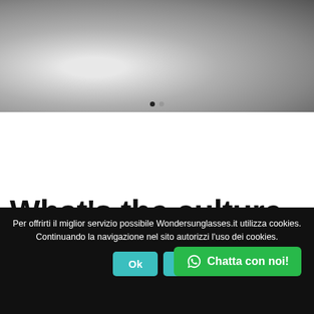[Figure (photo): Black and white close-up photo of human skin/shoulder area with two navigation dots at the bottom]
What's the culture that is hookup
Per offrirti il miglior servizio possibile Wondersunglasses.it utilizza cookies. Continuando la navigazione nel sito autorizzi l'uso dei cookies.
Ok   Le...   Chatta con noi!